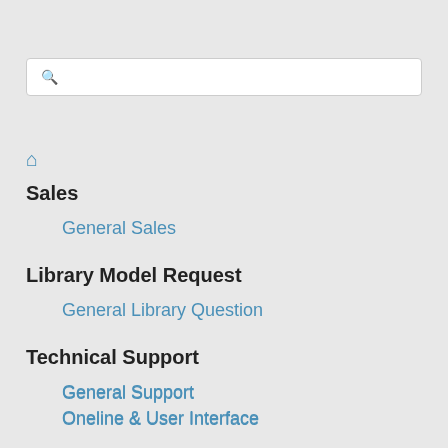Sales
General Sales
Library Model Request
General Library Question
Technical Support
General Support
Oneline & User Interface
License Key Issues
Downloading/Installing Software